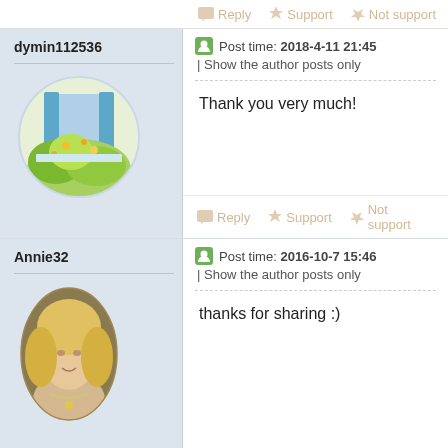Reply  Support  Not support
dymin112536
[Figure (photo): Circular avatar image showing a window with blue shutters and green flowering plants]
Post time: 2018-4-11 21:45 | Show the author posts only
Thank you very much!
Reply  Support  Not support
Annie32
[Figure (photo): Oval avatar image of a blonde woman with jewelry]
Post time: 2016-10-7 15:46 | Show the author posts only
thanks for sharing :)